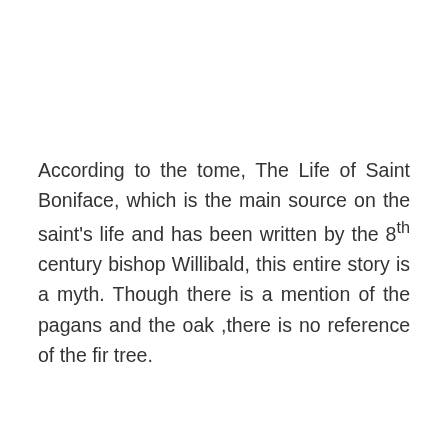According to the tome, The Life of Saint Boniface, which is the main source on the saint's life and has been written by the 8th century bishop Willibald, this entire story is a myth. Though there is a mention of the pagans and the oak ,there is no reference of the fir tree.